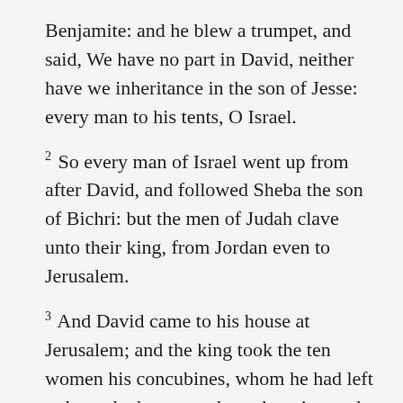Benjamite: and he blew a trumpet, and said, We have no part in David, neither have we inheritance in the son of Jesse: every man to his tents, O Israel.
2 So every man of Israel went up from after David, and followed Sheba the son of Bichri: but the men of Judah clave unto their king, from Jordan even to Jerusalem.
3 And David came to his house at Jerusalem; and the king took the ten women his concubines, whom he had left to keep the house, and put them in ward, and fed them, but went not in unto them. So they were shut up unto the day of their death, living in widowhood.
4 Then said the king to Amasa, Assemble me the men of Judah within three days, and be thou here present.